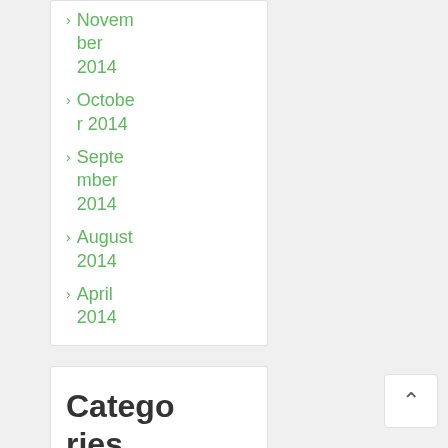November 2014
October 2014
September 2014
August 2014
April 2014
Categories
Austria